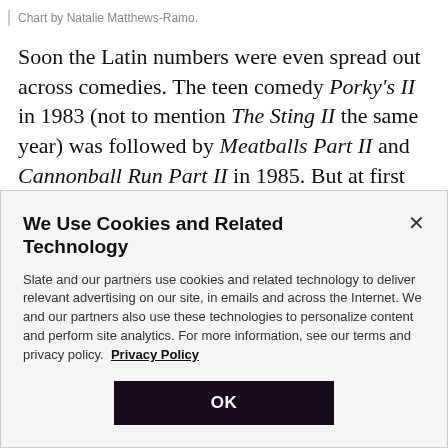Chart by Natalie Matthews-Ramo.
Soon the Latin numbers were even spread out across comedies. The teen comedy Porky's II in 1983 (not to mention The Sting II the same year) was followed by Meatballs Part II and Cannonball Run Part II in 1985. But at first even that wasn't enough to slow the Roman numeral's momentum. The Superman and Rocky
We Use Cookies and Related Technology
Slate and our partners use cookies and related technology to deliver relevant advertising on our site, in emails and across the Internet. We and our partners also use these technologies to personalize content and perform site analytics. For more information, see our terms and privacy policy.  Privacy Policy
OK